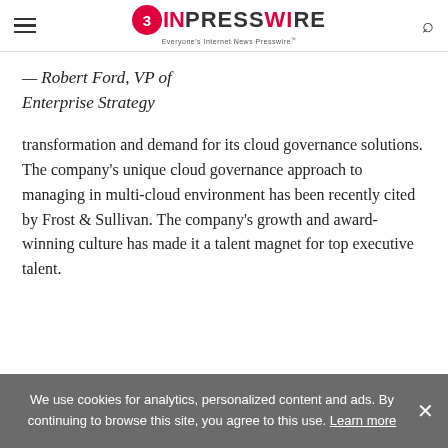EINPresswire — Everyone's Internet News Presswire
— Robert Ford, VP of Enterprise Strategy
transformation and demand for its cloud governance solutions. The company's unique cloud governance approach to managing in multi-cloud environment has been recently cited by Frost & Sullivan. The company's growth and award-winning culture has made it a talent magnet for top executive talent.
We use cookies for analytics, personalized content and ads. By continuing to browse this site, you agree to this use. Learn more